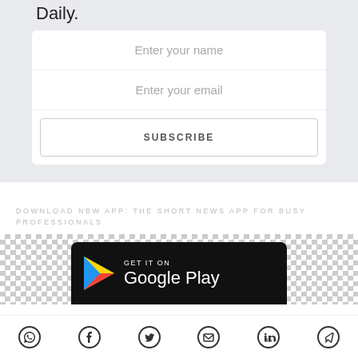Daily.
[Figure (screenshot): Newsletter subscription form with 'Enter your name', 'Enter your email' fields and a SUBSCRIBE button]
DOWNLOAD NBW APP: THE SHORT NEWS APP FOR BUSY PROFESSIONALS
[Figure (screenshot): Google Play Store badge with checkerboard background]
[Figure (other): Social share bar with WhatsApp, Facebook, Twitter, Email, LinkedIn, Telegram icons]